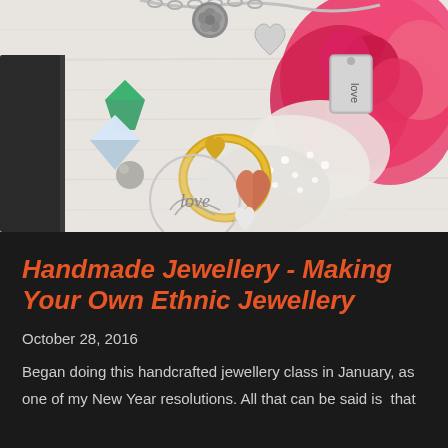[Figure (photo): A flat-lay photograph of handmade jewellery charms including silver heart pendants, a gold heart ring, a rose gold heart, a 'love' engraved tag, a green gemstone crystal, and a filigree 'love' medallion, arranged on a white wooden surface alongside pink roses and white baby's breath flowers.]
Handmade Jewellery - Making Your Own Ethnic Jewellery
October 28, 2016
Began doing this handcrafted jewellery class in January, as one of my New Year resolutions. All that can be said is  that